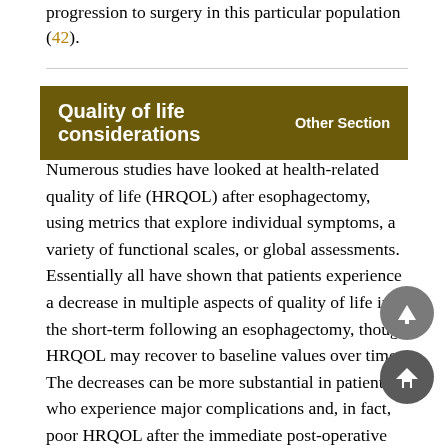progression to surgery in this particular population (42).
Quality of life considerations   Other Section
Numerous studies have looked at health-related quality of life (HRQOL) after esophagectomy, using metrics that explore individual symptoms, a variety of functional scales, or global assessments. Essentially all have shown that patients experience a decrease in multiple aspects of quality of life in the short-term following an esophagectomy, though HRQOL may recover to baseline values over time. The decreases can be more substantial in patients who experience major complications and, in fact, poor HRQOL after the immediate post-operative dip is associated with worse overall survival. The most significant areas where surgical patients suffer are predictably related to loss of their stomach's normal function: eating problems, reflux symptoms, loss of appetite, and diarrhea. However, these patients also had worse scores with general health measures like